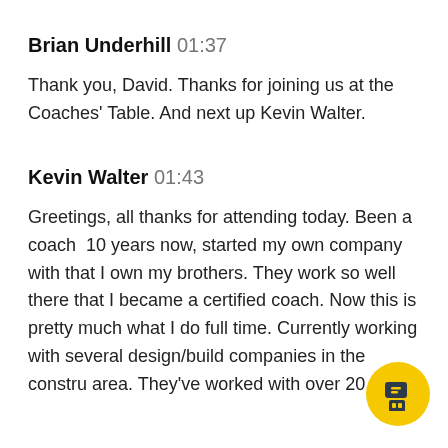Brian Underhill 01:37
Thank you, David. Thanks for joining us at the Coaches' Table. And next up Kevin Walter.
Kevin Walter 01:43
Greetings, all thanks for attending today. Been a coach  10 years now, started my own company with that I own my brothers. They work so well there that I became a certified coach. Now this is pretty much what I do full time. Currently working with several design/build companies in the constru area. They've worked with over 20